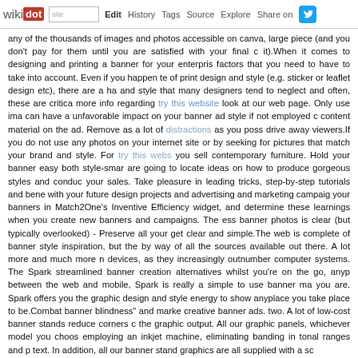wikidot | site Edit History Tags Source Explore Share on [Twitter]
any of the thousands of images and photos accessible on canva, large piece (and you don't pay for them until you are satisfied with your final c it).When it comes to designing and printing a banner for your enterpris factors that you need to have to take into account. Even if you happen te of print design and style (e.g. sticker or leaflet design etc), there are a ha and style that many designers tend to neglect and often, these are critica more info regarding try this website look at our web page. Only use ima can have a unfavorable impact on your banner ad style if not employed c content material on the ad. Remove as a lot of distractions as you poss drive away viewers.If you do not use any photos on your internet site or by seeking for pictures that match your brand and style. For try this webs you sell contemporary furniture. Hold your banner easy both style-smar are going to locate ideas on how to produce gorgeous styles and conduc your sales. Take pleasure in leading tricks, step-by-step tutorials and bene with your future design projects and advertising and marketing campaig your banners in Match2One's Inventive Efficiency widget, and determine these learnings when you create new banners and campaigns. The ess banner photos is clear (but typically overlooked) - Preserve all your get clear and simple.The web is complete of banner style inspiration, but the by way of all the sources available out there. A lot more and much more n devices, as they increasingly outnumber computer systems. The Spark streamlined banner creation alternatives whilst you're on the go, anyp between the web and mobile, Spark is really a simple to use banner ma you are. Spark offers you the graphic design and style energy to show anyplace you take place to be.Combat banner blindness" and marke creative banner ads. two. A lot of low-cost banner stands reduce corners c the graphic output. All our graphic panels, whichever model you choos employing an inkjet machine, eliminating banding in tonal ranges and p text. In addition, all our banner stand graphics are all supplied with a sc